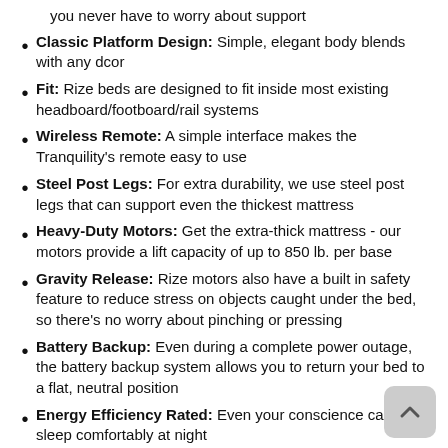you never have to worry about support
Classic Platform Design: Simple, elegant body blends with any dcor
Fit: Rize beds are designed to fit inside most existing headboard/footboard/rail systems
Wireless Remote: A simple interface makes the Tranquility's remote easy to use
Steel Post Legs: For extra durability, we use steel post legs that can support even the thickest mattress
Heavy-Duty Motors: Get the extra-thick mattress - our motors provide a lift capacity of up to 850 lb. per base
Gravity Release: Rize motors also have a built in safety feature to reduce stress on objects caught under the bed, so there's no worry about pinching or pressing
Battery Backup: Even during a complete power outage, the battery backup system allows you to return your bed to a flat, neutral position
Energy Efficiency Rated: Even your conscience can sleep comfortably at night